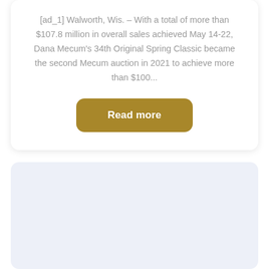[ad_1] Walworth, Wis. – With a total of more than $107.8 million in overall sales achieved May 14-22, Dana Mecum's 34th Original Spring Classic became the second Mecum auction in 2021 to achieve more than $100...
Read more
[Figure (other): Light blue-gray placeholder card/box at the bottom of the page]